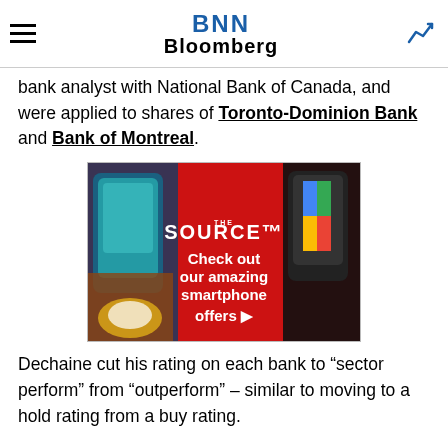BNN Bloomberg
bank analyst with National Bank of Canada, and were applied to shares of Toronto-Dominion Bank and Bank of Montreal.
[Figure (photo): The Source advertisement featuring smartphones with text 'Check out our amazing smartphone offers']
Dechaine cut his rating on each bank to “sector perform” from “outperform” – similar to moving to a hold rating from a buy rating.